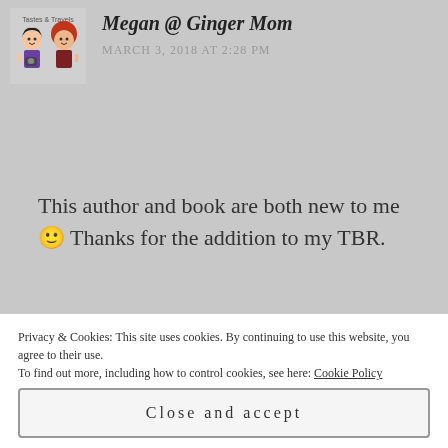[Figure (illustration): Blog avatar image showing two cartoon women with text 'Tastes & Travels' at top]
Megan @ Ginger Mom
MARCH 3, 2018 AT 2:28 PM
This author and book are both new to me 🙂 Thanks for the addition to my TBR.
★ Liked by 1 person
Reply
Privacy & Cookies: This site uses cookies. By continuing to use this website, you agree to their use. To find out more, including how to control cookies, see here: Cookie Policy
Close and accept